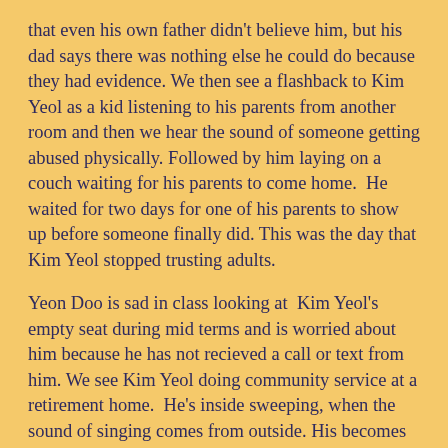that even his own father didn't believe him, but his dad says there was nothing else he could do because they had evidence. We then see a flashback to Kim Yeol as a kid listening to his parents from another room and then we hear the sound of someone getting abused physically. Followed by him laying on a couch waiting for his parents to come home.  He waited for two days for one of his parents to show up before someone finally did. This was the day that Kim Yeol stopped trusting adults.
Yeon Doo is sad in class looking at  Kim Yeol's empty seat during mid terms and is worried about him because he has not recieved a call or text from him. We see Kim Yeol doing community service at a retirement home.  He's inside sweeping, when the sound of singing comes from outside. His becomes happy when he recognizes the voice as Yeon Doo's. He goes outside to see her singing with the seniors and they both smile at each other.